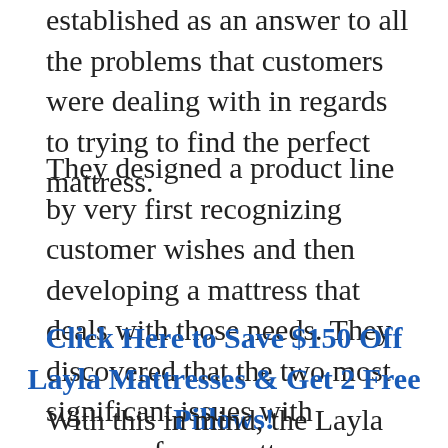Layla Sleep is the organization that was established as an answer to all the problems that customers were dealing with in regards to trying to find the perfect mattress.
They designed a product line by very first recognizing customer wishes and then developing a mattress that deals with those needs. They discovered that the two most significant issues with memory foam mattresses were temperature and support.
Click Here to Save $150 Off Layla Mattresses & Get 2 Free Pillows!
With this in mind, the Layla memory foam mattress was developed.